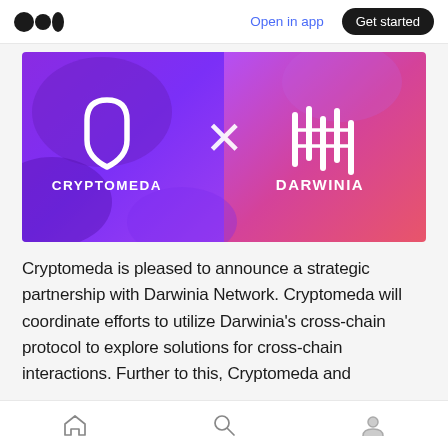Open in app | Get started
[Figure (illustration): Cryptomeda x Darwinia partnership banner. Left half purple with Cryptomeda logo (shield icon) and wordmark in white. Right half pink/magenta with Darwinia DNA/bars icon and wordmark in white. Large white X in the center joining the two brands.]
Cryptomeda is pleased to announce a strategic partnership with Darwinia Network. Cryptomeda will coordinate efforts to utilize Darwinia's cross-chain protocol to explore solutions for cross-chain interactions. Further to this, Cryptomeda and
Home | Search | Profile